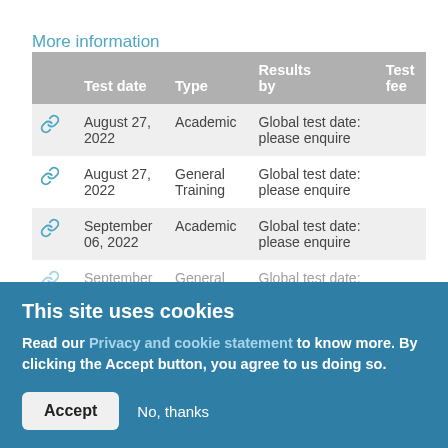More information
|  | Test date | Type | Results by | Test fee |
| --- | --- | --- | --- | --- |
| 🔗 | August 27, 2022 | Academic | Global test date: please enquire |  |
| 🔗 | August 27, 2022 | General Training | Global test date: please enquire |  |
| 🔗 | September 06, 2022 | Academic | Global test date: please enquire |  |
| 🔗 | September ... | General ... | Global test date: ... |  |
This site uses cookies
Read our Privacy and cookie statement to know more. By clicking the Accept button, you agree to us doing so.
Accept   No, thanks